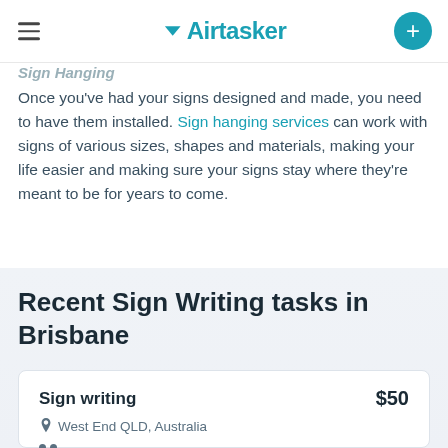Airtasker
Sign Hanging
Once you've had your signs designed and made, you need to have them installed. Sign hanging services can work with signs of various sizes, shapes and materials, making your life easier and making sure your signs stay where they're meant to be for years to come.
Recent Sign Writing tasks in Brisbane
| Task | Price | Location |
| --- | --- | --- |
| Sign writing | $50 | West End QLD, Australia |